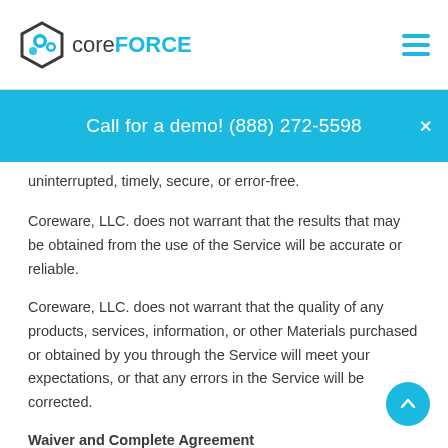coreFORCE
Call for a demo! (888) 272-5598
uninterrupted, timely, secure, or error-free.
Coreware, LLC. does not warrant that the results that may be obtained from the use of the Service will be accurate or reliable.
Coreware, LLC. does not warrant that the quality of any products, services, information, or other Materials purchased or obtained by you through the Service will meet your expectations, or that any errors in the Service will be corrected.
Waiver and Complete Agreement